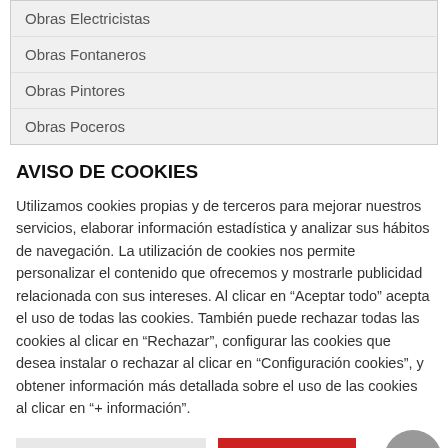Obras Electricistas
Obras Fontaneros
Obras Pintores
Obras Poceros
AVISO DE COOKIES
Utilizamos cookies propias y de terceros para mejorar nuestros servicios, elaborar información estadística y analizar sus hábitos de navegación. La utilización de cookies nos permite personalizar el contenido que ofrecemos y mostrarle publicidad relacionada con sus intereses. Al clicar en “Aceptar todo” acepta el uso de todas las cookies. También puede rechazar todas las cookies al clicar en “Rechazar”, configurar las cookies que desea instalar o rechazar al clicar en “Configuración cookies”, y obtener información más detallada sobre el uso de las cookies al clicar en “+ información”.